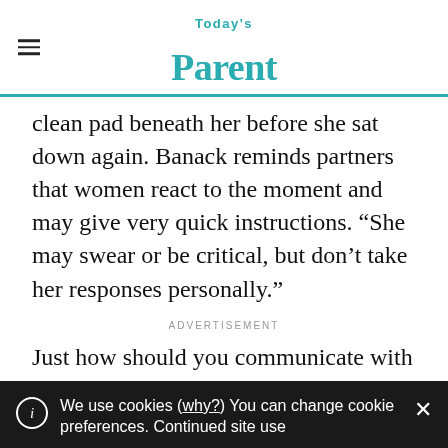Today's Parent
clean pad beneath her before she sat down again. Banack reminds partners that women react to the moment and may give very quick instructions. “She may swear or be critical, but don’t take her responses personally.”
ADVERTISEMENT
Just how should you communicate with
We use cookies (why?) You can change cookie preferences. Continued site use